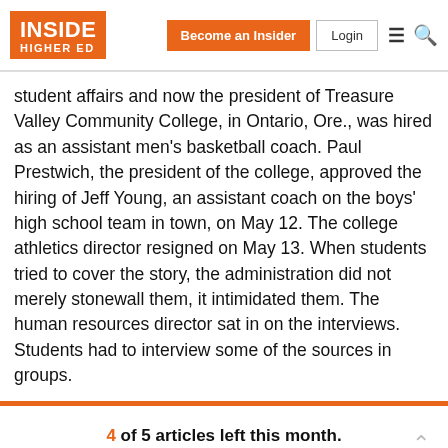Inside Higher Ed — Become an Insider | Login
student affairs and now the president of Treasure Valley Community College, in Ontario, Ore., was hired as an assistant men's basketball coach. Paul Prestwich, the president of the college, approved the hiring of Jeff Young, an assistant coach on the boys' high school team in town, on May 12. The college athletics director resigned on May 13. When students tried to cover the story, the administration did not merely stonewall them, it intimidated them. The human resources director sat in on the interviews. Students had to interview some of the sources in groups.
4 of 5 articles left this month. Sign up for a free account or Log in.